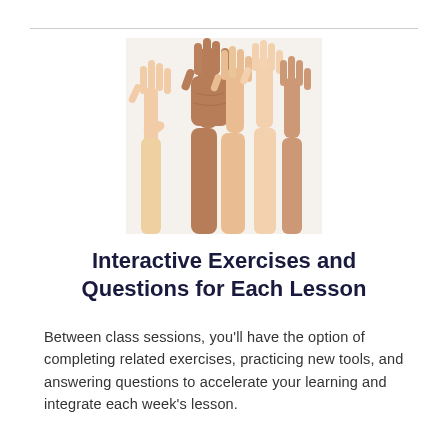[Figure (photo): Multiple diverse hands raised up against a light background, showing palms facing forward.]
Interactive Exercises and Questions for Each Lesson
Between class sessions, you'll have the option of completing related exercises, practicing new tools, and answering questions to accelerate your learning and integrate each week's lesson.